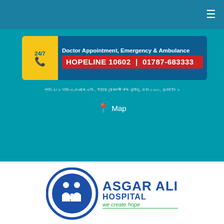≡
[Figure (logo): 24/7 hopeline banner with phone icon, Doctor Appointment, Emergency & Ambulance, HOPELINE 10602 | 01787-683333]
Plot # 4, Gareeb-e-Newaz Ave, Sector-11, Uttara (North of Rajlaxmi), Dhaka-1230, Helpline 9
📍 Map
[Figure (logo): Asgar Ali Hospital logo with circular icon showing two figures and a cross, text: ASGAR ALI HOSPITAL we create hope]
Search For Consultants Or Department
[Figure (photo): Partial photo at bottom of page, showing a person's hand or body part]